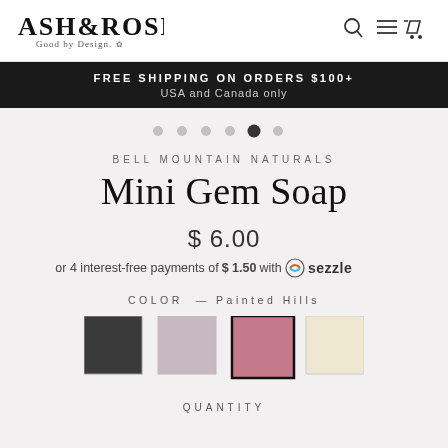[Figure (logo): Ash & Rose 'Good by Design.' logo with floral accent]
[Figure (other): Search, navigation menu, and cart icons]
FREE SHIPPING ON ORDERS $100+
USA and Canada only
[Figure (other): Carousel navigation dots, 5th dot active]
BELL MOUNTAIN NATURALS
Mini Gem Soap
$ 6.00
or 4 interest-free payments of $ 1.50 with Sezzle
COLOR — Painted Hills
[Figure (other): Four color swatches: dark charcoal, light mauve, pink (selected/Painted Hills), cream]
QUANTITY